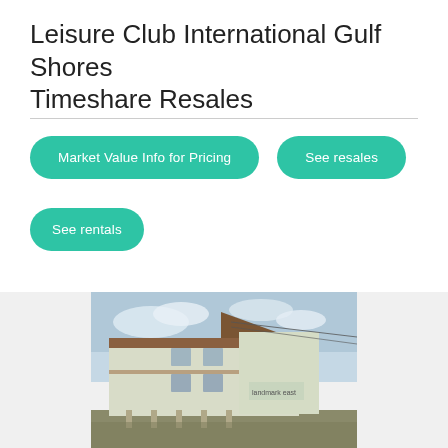Leisure Club International Gulf Shores Timeshare Resales
Market Value Info for Pricing
See resales
See rentals
[Figure (photo): Photo of a multi-story townhouse-style building with white/cream siding, brown wood trim, balconies, elevated on stilts, with a sign reading 'landmark east'. Cloudy sky background.]